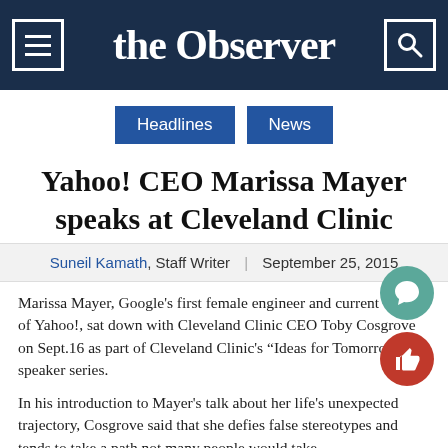the Observer
Headlines
News
Yahoo! CEO Marissa Mayer speaks at Cleveland Clinic
Suneil Kamath, Staff Writer | September 25, 2015
Marissa Mayer, Google's first female engineer and current CEO of Yahoo!, sat down with Cleveland Clinic CEO Toby Cosgrove on Sept.16 as part of Cleveland Clinic's “Ideas for Tomorrow” speaker series.
In his introduction to Mayer's talk about her life's unexpected trajectory, Cosgrove said that she defies false stereotypes and tends to take a path not many people would take.
After getting accepted into Harvard University and Yale University...